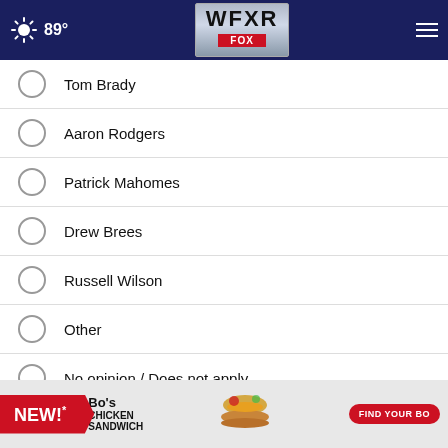WFXR FOX — 89°
Tom Brady
Aaron Rodgers
Patrick Mahomes
Drew Brees
Russell Wilson
Other
No opinion / Does not apply
NEXT *
* By clicking "NEXT" you agree to the following: We use cookies to track your survey answers. If you would like to continue with this survey please read and agree to the CivicScience Privacy Policy and Terms of
[Figure (screenshot): Advertisement banner for Bo's Chicken Sandwich with red NEW! label, chicken sandwich image, and FIND YOUR BO button]